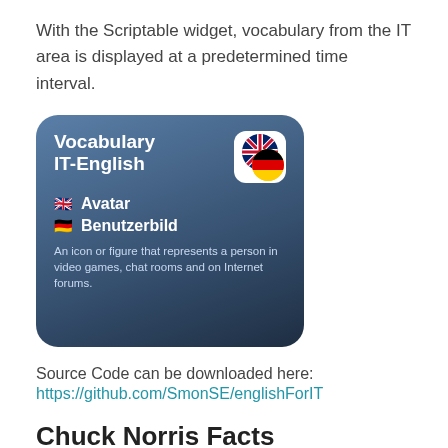With the Scriptable widget, vocabulary from the IT area is displayed at a predetermined time interval.
[Figure (screenshot): Screenshot of a Vocabulary IT-English widget app showing 'Avatar' in English and 'Benutzerbild' in German with flags and a definition: An icon or figure that represents a person in video games, chat rooms and on Internet forums.]
Source Code can be downloaded here:
https://github.com/SmonSE/englishForIT
Chuck Norris Facts
At the beginning I looked for free Json Api's with the